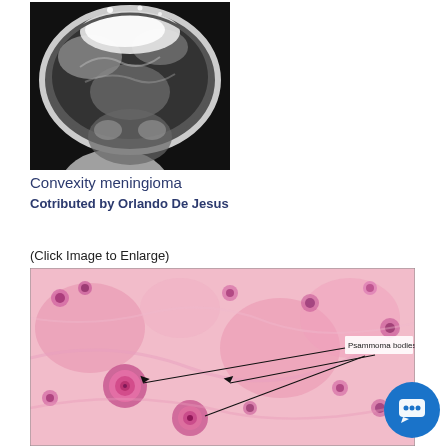[Figure (photo): MRI scan image of a convexity meningioma, grayscale coronal brain MRI showing a large mass]
Convexity meningioma
Cotributed by Orlando De Jesus
(Click Image to Enlarge)
[Figure (photo): Histological microscopy image of meningioma tissue showing psammoma bodies, H&E stain, pink/magenta colored cells with annotated labels pointing to psammoma bodies]
[Figure (other): Chat/messenger button icon, circular blue button with speech bubble icon]